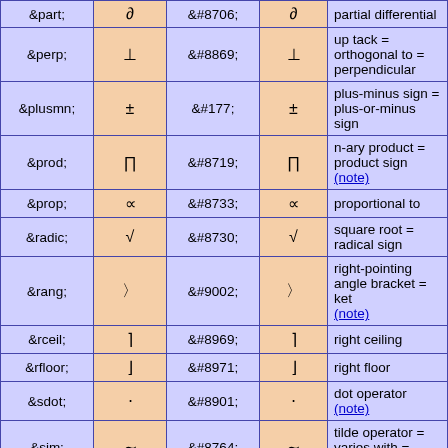| Entity | Glyph | Code | Render | Description |
| --- | --- | --- | --- | --- |
| &part; | ∂ | &#8706; | ∂ | partial differential |
| &perp; | ⊥ | &#8869; | ⊥ | up tack = orthogonal to = perpendicular |
| &plusmn; | ± | &#177; | ± | plus-minus sign = plus-or-minus sign |
| &prod; | ∏ | &#8719; | ∏ | n-ary product = product sign (note) |
| &prop; | ∝ | &#8733; | ∝ | proportional to |
| &radic; | √ | &#8730; | √ | square root = radical sign |
| &rang; | 〉 | &#9002; | 〉 | right-pointing angle bracket = ket (note) |
| &rceil; | ⌉ | &#8969; | ⌉ | right ceiling |
| &rfloor; | ⌋ | &#8971; | ⌋ | right floor |
| &sdot; | ⋅ | &#8901; | ⋅ | dot operator (note) |
| &sim; | ∼ | &#8764; | ∼ | tilde operator = varies with = similar to (note) |